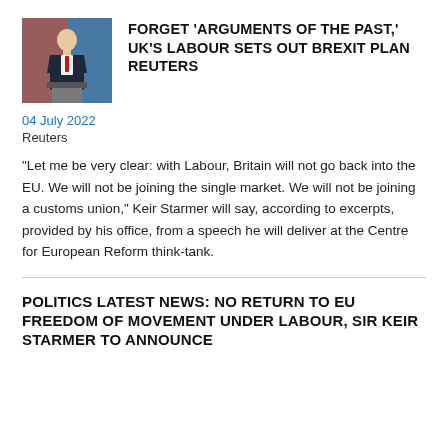[Figure (photo): Photo of a man in a suit speaking at a podium, with flags or banners visible in the background]
FORGET 'ARGUMENTS OF THE PAST,' UK'S LABOUR SETS OUT BREXIT PLAN REUTERS
04 July 2022
Reuters
"Let me be very clear: with Labour, Britain will not go back into the EU. We will not be joining the single market. We will not be joining a customs union," Keir Starmer will say, according to excerpts, provided by his office, from a speech he will deliver at the Centre for European Reform think-tank.
POLITICS LATEST NEWS: NO RETURN TO EU FREEDOM OF MOVEMENT UNDER LABOUR, SIR KEIR STARMER TO ANNOUNCE